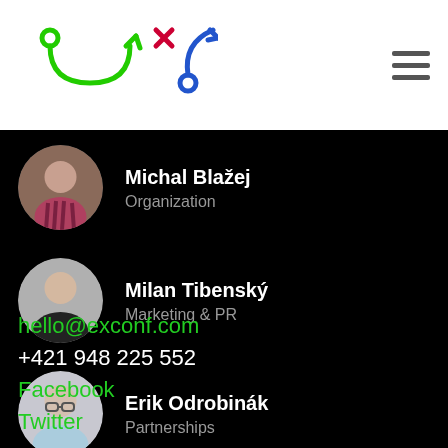[Figure (logo): ExConf logo with green and blue play/strategy icons]
Michal Blažej
Organization
Milan Tibenský
Marketing & PR
Erik Odrobinák
Partnerships
hello@exconf.com
+421 948 225 552
Facebook
Twitter